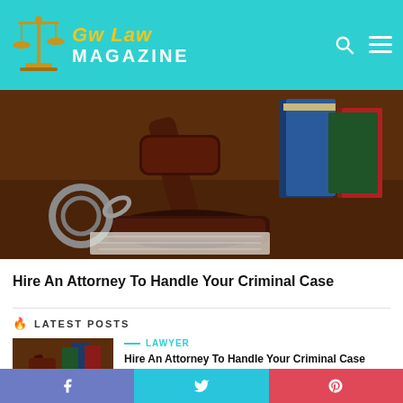Gw Law MAGAZINE
[Figure (photo): Judge's gavel and sound block on wooden desk with handcuffs and books in background]
Hire An Attorney To Handle Your Criminal Case
LATEST POSTS
[Figure (photo): Thumbnail of judge's gavel with books]
LAWYER
Hire An Attorney To Handle Your Criminal Case